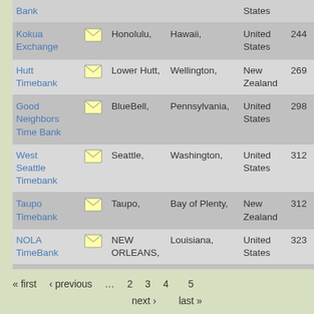| Name |  | City | State/Province | Country | # |
| --- | --- | --- | --- | --- | --- |
| Bank |  |  |  | States |  |
| Kokua Exchange | ✉ | Honolulu, | Hawaii, | United States | 244 |
| Hutt Timebank | ✉ | Lower Hutt, | Wellington, | New Zealand | 269 |
| Good Neighbors Time Bank | ✉ | BlueBell, | Pennsylvania, | United States | 298 |
| West Seattle Timebank | ✉ | Seattle, | Washington, | United States | 312 |
| Taupo Timebank | ✉ | Taupo, | Bay of Plenty, | New Zealand | 312 |
| NOLA TimeBank | ✉ | NEW ORLEANS, | Louisiana, | United States | 323 |
| St. Pete Timebank | ✉ | St. Petersburg, | Florida, | United States | 323 |
« first  ‹ previous  …  2  3  next ›  4  last »  5